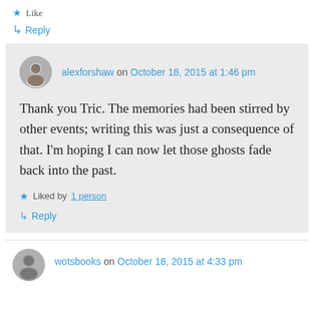★ Like
↳ Reply
alexforshaw on October 18, 2015 at 1:46 pm
Thank you Tric. The memories had been stirred by other events; writing this was just a consequence of that. I'm hoping I can now let those ghosts fade back into the past.
★ Liked by 1 person
↳ Reply
wotsbooks on October 18, 2015 at 4:33 pm